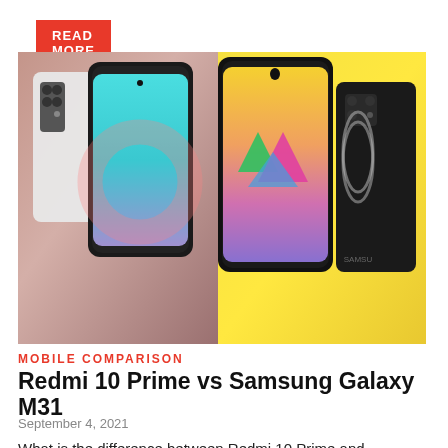[Figure (other): READ MORE button - red/orange rectangular button with white bold text]
[Figure (photo): Two smartphones side by side: left side shows Xiaomi Redmi 10 Prime (white/silver phones with quad camera, teal gradient screen), right side shows Samsung Galaxy M31 (black phone with quad camera, yellow background with colorful 3D shapes on screen)]
MOBILE COMPARISON
Redmi 10 Prime vs Samsung Galaxy M31
September 4, 2021
What is the difference between Redmi 10 Prime and Samsung Galaxy M31? Redmi 10 Prime